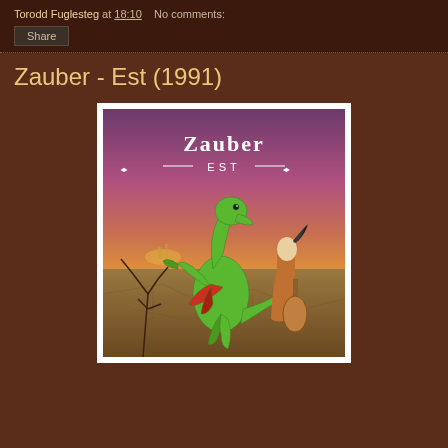Torodd Fuglesteg at 18:10   No comments:
Share
Zauber - Est (1991)
[Figure (illustration): Album cover for Zauber - Est (1991). Shows a green dragon-like creature rearing up facing a robed wizard figure, set against a dramatic purple and yellow sky with cracked desert ground. The Zauber logo and 'EST' text appear at the top of the cover art.]